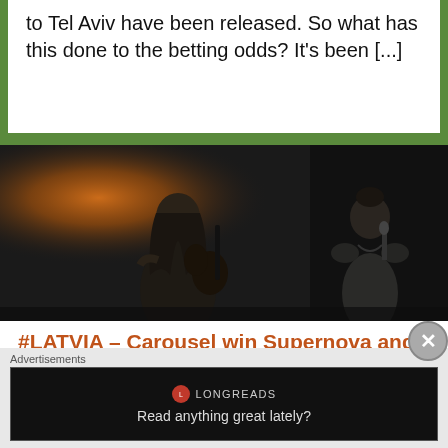to Tel Aviv have been released. So what has this done to the betting odds? It's been [...]
[Figure (photo): Black and white concert photo showing two performers: a man with long hair playing guitar on the left under warm stage lighting, and a woman with hair up singing into a microphone on the right, wearing a ruffled dress.]
#LATVIA – Carousel win Supernova and "That Night" is off to Tel Aviv
BY JJS1990 ON FEBRUARY 16, 2019 • ( LEAVE A COMMENT )
After weeks of Supernova semis. we have a result
Advertisements
[Figure (other): Longreads advertisement banner with black background, Longreads logo, and text 'Read anything great lately?']